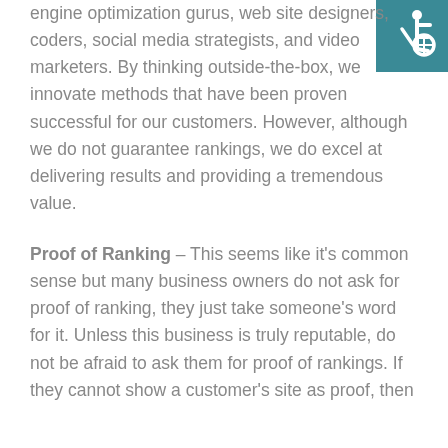[Figure (illustration): Wheelchair accessibility icon — white figure in wheelchair on teal/dark cyan square background, top-right corner]
engine optimization gurus, web site designers, coders, social media strategists, and video marketers. By thinking outside-the-box, we innovate methods that have been proven successful for our customers. However, although we do not guarantee rankings, we do excel at delivering results and providing a tremendous value.
Proof of Ranking – This seems like it's common sense but many business owners do not ask for proof of ranking, they just take someone's word for it. Unless this business is truly reputable, do not be afraid to ask them for proof of rankings. If they cannot show a customer's site as proof, then